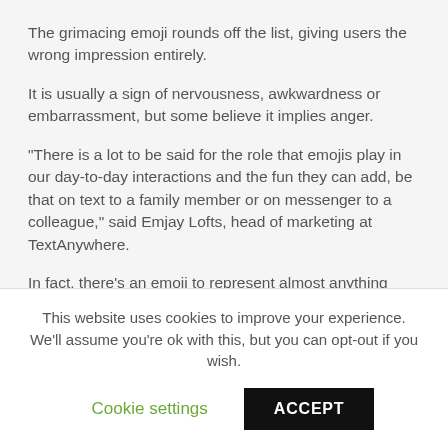The grimacing emoji rounds off the list, giving users the wrong impression entirely.
It is usually a sign of nervousness, awkwardness or embarrassment, but some believe it implies anger.
"There is a lot to be said for the role that emojis play in our day-to-day interactions and the fun they can add, be that on text to a family member or on messenger to a colleague," said Emjay Lofts, head of marketing at TextAnywhere.
In fact, there’s an emoji to represent almost anything these days, from an emotion to a type of fruit.
"Emojis have become a popular way to express non-verbal
This website uses cookies to improve your experience. We’ll assume you’re ok with this, but you can opt-out if you wish.
Cookie settings
ACCEPT